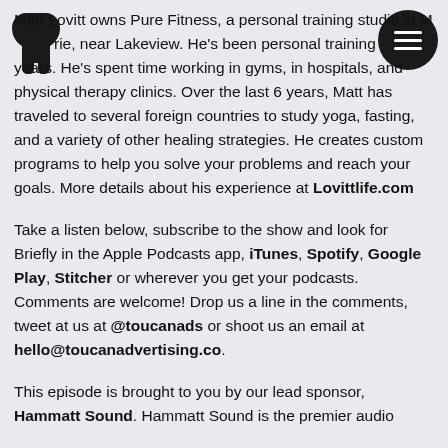[Figure (logo): Toucan Advertising logo — dark bird silhouette in top-left corner]
[Figure (other): Hamburger menu button — dark circle with three white horizontal lines, top-right corner]
Matt Lovitt owns Pure Fitness, a personal training studio in Metairie, near Lakeview. He's been personal training for years. He's spent time working in gyms, in hospitals, and physical therapy clinics. Over the last 6 years, Matt has traveled to several foreign countries to study yoga, fasting, and a variety of other healing strategies. He creates custom programs to help you solve your problems and reach your goals. More details about his experience at Lovittlife.com
Take a listen below, subscribe to the show and look for Briefly in the Apple Podcasts app, iTunes, Spotify, Google Play, Stitcher or wherever you get your podcasts. Comments are welcome! Drop us a line in the comments, tweet at us at @toucanads or shoot us an email at hello@toucanadvertising.co.
This episode is brought to you by our lead sponsor, Hammatt Sound. Hammatt Sound is the premier audio